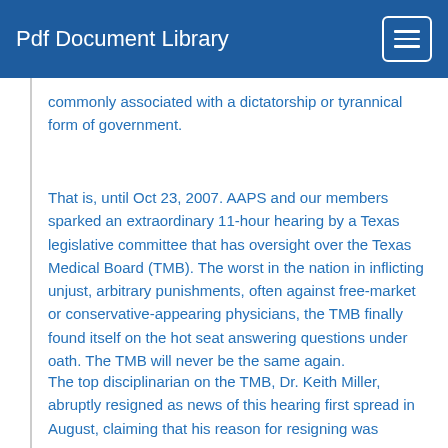Pdf Document Library
commonly associated with a dictatorship or tyrannical form of government.
That is, until Oct 23, 2007. AAPS and our members sparked an extraordinary 11-hour hearing by a Texas legislative committee that has oversight over the Texas Medical Board (TMB). The worst in the nation in inflicting unjust, arbitrary punishments, often against free-market or conservative-appearing physicians, the TMB finally found itself on the hot seat answering questions under oath. The TMB will never be the same again.
The top disciplinarian on the TMB, Dr. Keith Miller, abruptly resigned as news of this hearing first spread in August, claiming that his reason for resigning was